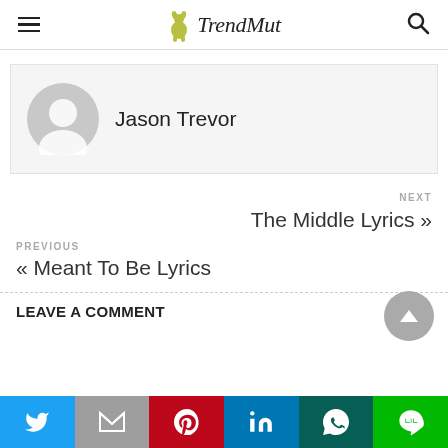TrendMut
Jason Trevor
NEXT
The Middle Lyrics »
PREVIOUS
« Meant To Be Lyrics
LEAVE A COMMENT